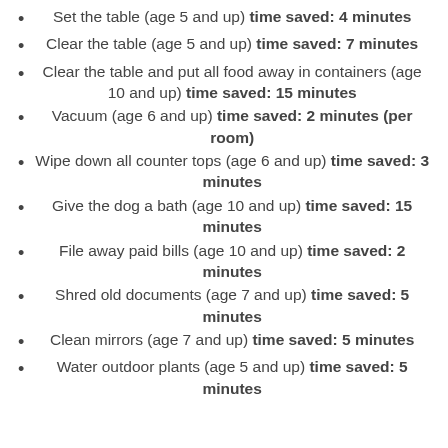Set the table (age 5 and up) time saved: 4 minutes
Clear the table (age 5 and up) time saved: 7 minutes
Clear the table and put all food away in containers (age 10 and up) time saved: 15 minutes
Vacuum (age 6 and up) time saved: 2 minutes (per room)
Wipe down all counter tops (age 6 and up) time saved: 3 minutes
Give the dog a bath (age 10 and up) time saved: 15 minutes
File away paid bills (age 10 and up) time saved: 2 minutes
Shred old documents (age 7 and up) time saved: 5 minutes
Clean mirrors (age 7 and up) time saved: 5 minutes
Water outdoor plants (age 5 and up) time saved: 5 minutes